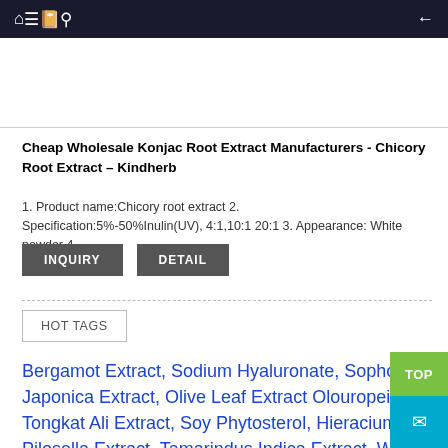Navigation bar with home, menu, book, search, and back icons
[Figure (other): White image/product placeholder box]
Cheap Wholesale Konjac Root Extract Manufacturers - Chicory Root Extract – Kindherb
1. Product name:Chicory root extract 2. Specification:5%-50%Inulin(UV), 4:1,10:1 20:1 3. Appearance: White powder 4.
INQUIRY   DETAIL
HOT TAGS
Bergamot Extract, Sodium Hyaluronate, Sophora Japonica Extract, Olive Leaf Extract Olouropein, Tongkat Ali Extract, Soy Phytosterol, Hieracium Pilosella Extract, Tamarindus Indica Extract, Wheatgrass Extract, Pomegranate Extract,